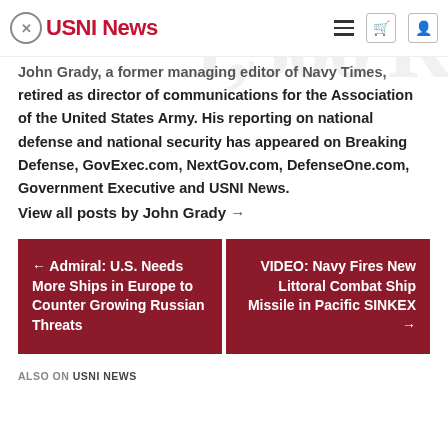USNI News
John Grady, a former managing editor of Navy Times, retired as director of communications for the Association of the United States Army. His reporting on national defense and national security has appeared on Breaking Defense, GovExec.com, NextGov.com, DefenseOne.com, Government Executive and USNI News.
View all posts by John Grady →
← Admiral: U.S. Needs More Ships in Europe to Counter Growing Russian Threats
VIDEO: Navy Fires New Littoral Combat Ship Missile in Pacific SINKEX →
ALSO ON USNI NEWS